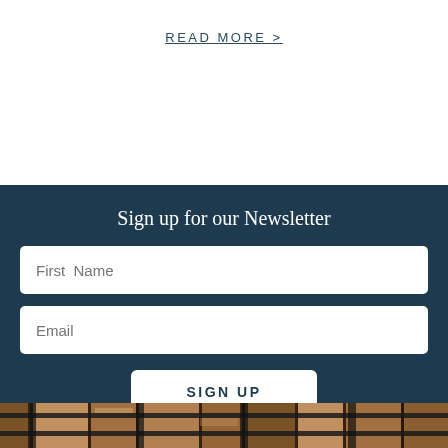READ MORE >
Sign up for our Newsletter
First Name
Email
SIGN UP
[Figure (photo): Barn interior photo showing wooden stalls with metal rails and cattle]